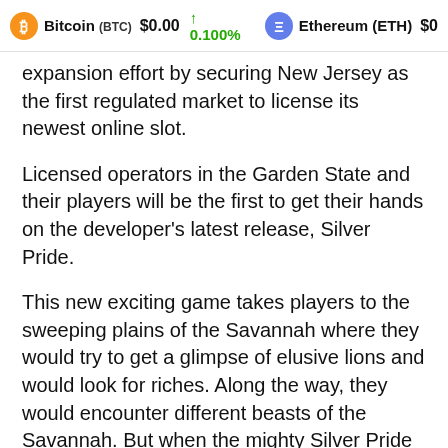Bitcoin (BTC) $0.00 ↑ 0.100%   Ethereum (ETH) $0
expansion effort by securing New Jersey as the first regulated market to license its newest online slot.
Licensed operators in the Garden State and their players will be the first to get their hands on the developer's latest release, Silver Pride.
This new exciting game takes players to the sweeping plains of the Savannah where they would try to get a glimpse of elusive lions and would look for riches. Along the way, they would encounter different beasts of the Savannah. But when the mighty Silver Pride appears in view, players can expect thrilling bonus rounds with potential for hefty wins.
As all its other titles, the studio has designed this new online slot to feature stunning graphics and an authentic soundtrack that transports players right to